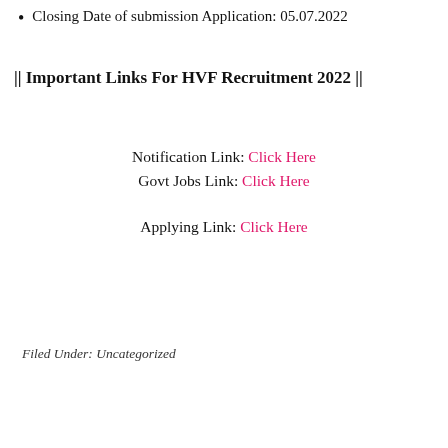Closing Date of submission Application: 05.07.2022
|| Important Links For HVF Recruitment 2022 ||
Notification Link: Click Here
Govt Jobs Link: Click Here
Applying Link: Click Here
Filed Under: Uncategorized